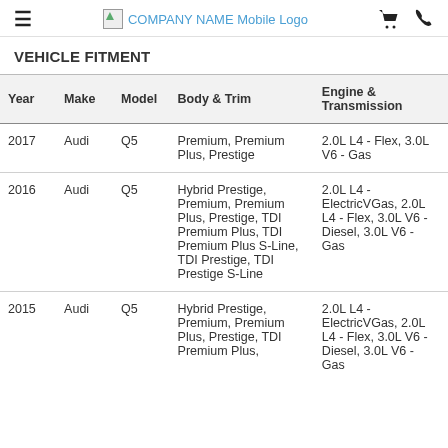COMPANY NAME Mobile Logo
VEHICLE FITMENT
| Year | Make | Model | Body & Trim | Engine & Transmission |
| --- | --- | --- | --- | --- |
| 2017 | Audi | Q5 | Premium, Premium Plus, Prestige | 2.0L L4 - Flex, 3.0L V6 - Gas |
| 2016 | Audi | Q5 | Hybrid Prestige, Premium, Premium Plus, Prestige, TDI Premium Plus, TDI Premium Plus S-Line, TDI Prestige, TDI Prestige S-Line | 2.0L L4 - ElectricVGas, 2.0L L4 - Flex, 3.0L V6 - Diesel, 3.0L V6 - Gas |
| 2015 | Audi | Q5 | Hybrid Prestige, Premium, Premium Plus, Prestige, TDI Premium Plus... | 2.0L L4 - ElectricVGas, 2.0L L4 - Flex, 3.0L V6 - Diesel, 3.0L V6 - Gas |